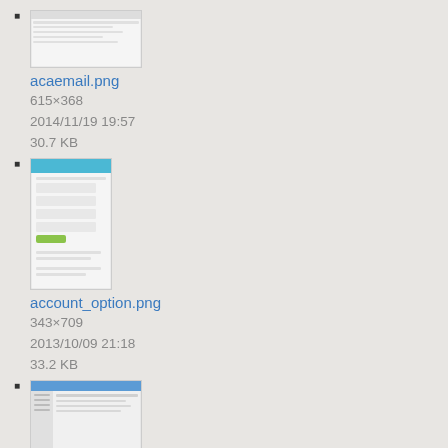acaemail.png
615×368
2014/11/19 19:57
30.7 KB
account_option.png
343×709
2013/10/09 21:18
33.2 KB
account_settings.png
1214×603
2012/10/11 20:25
39.1 KB